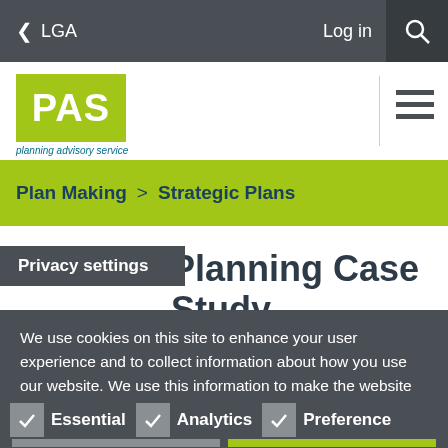LGA
[Figure (logo): PAS - planning advisory service logo, green background with white PAS text]
Plan Making  >  Strategic Plans
Planning Case Study
Privacy settings
We use cookies on this site to enhance your user experience and to collect information about how you use our website. We use this information to make the website work as well as possible and to improve our content. More information
Essential
Analytics
Preference